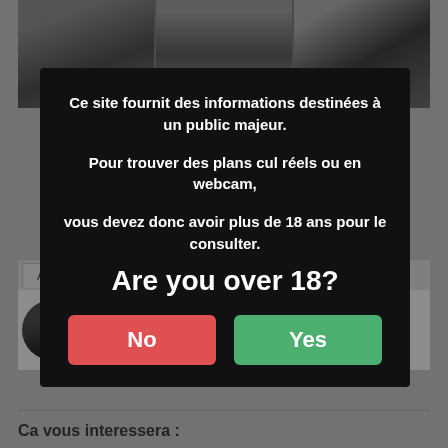[Figure (screenshot): Background website with greyscale photos of women at top, tabs row showing Author/Recent labels, user avatar, and divider line]
Ce site fournit des informations destinées à un public majeur.

Pour trouver des plans cul réels ou en webcam,

vous devez donc avoir plus de 18 ans pour le consulter.
Are you over 18?
No
Yes
Ca vous interessera :